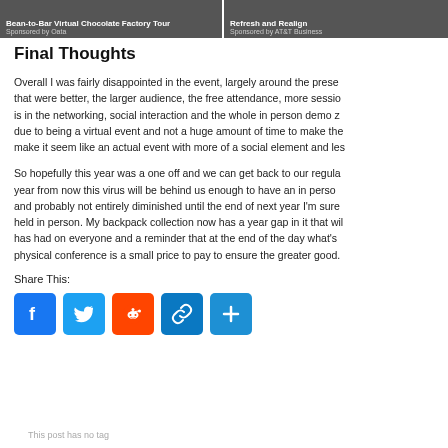[Figure (screenshot): Top banner with two sponsored content thumbnails: 'Bean-to-Bar Virtual Chocolate Factory Tour Sponsored by Oata' and 'Refresh and Realign Sponsored by AT&T Business']
Final Thoughts
Overall I was fairly disappointed in the event, largely around the presentations that were better, the larger audience, the free attendance, more sessions is in the networking, social interaction and the whole in person demo zone due to being a virtual event and not a huge amount of time to make the make it seem like an actual event with more of a social element and less
So hopefully this year was a one off and we can get back to our regular year from now this virus will be behind us enough to have an in person and probably not entirely diminished until the end of next year I'm sure held in person. My backpack collection now has a year gap in it that will has had on everyone and a reminder that at the end of the day what's physical conference is a small price to pay to ensure the greater good.
Share This:
[Figure (infographic): Social sharing icons: Facebook (blue), Twitter (light blue), Reddit (orange), link (blue), share/plus (blue)]
This post has no tag